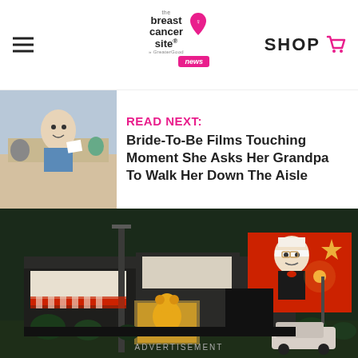The Breast Cancer Site news — SHOP
READ NEXT: Bride-To-Be Films Touching Moment She Asks Her Grandpa To Walk Her Down The Aisle
[Figure (photo): Night-time exterior photo of a KFC restaurant building with Colonel Sanders billboard signage illuminated]
PHOTO: YOUTUBE/FOX13 MEMPHIS
ADVERTISEMENT